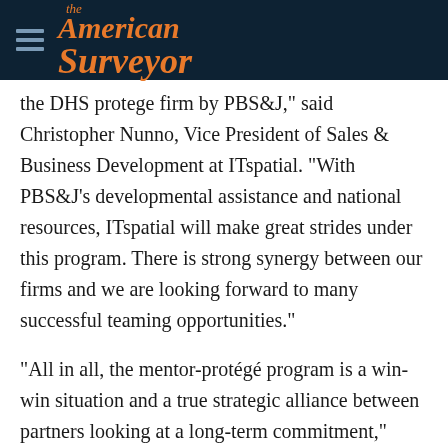the American Surveyor
the DHS protege firm by PBS&J," said Christopher Nunno, Vice President of Sales & Business Development at ITspatial. “With PBS&J’s developmental assistance and national resources, ITspatial will make great strides under this program. There is strong synergy between our firms and we are looking forward to many successful teaming opportunities.”
“All in all, the mentor-protégé program is a win-win situation and a true strategic alliance between partners looking at a long-term commitment,” added PBS&J’s Lawson. “Both of our companies will grow as we leverage one another’s strengths